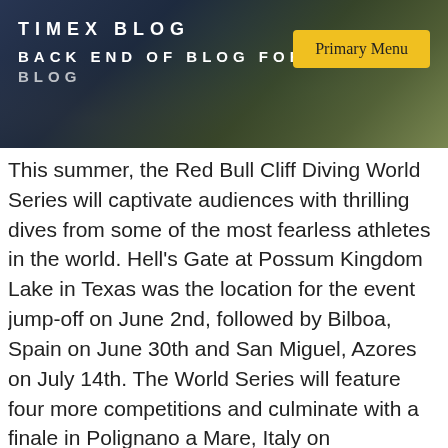TIMEX BLOG
BACK END OF BLOG FOR TIMEX BLOG
[Figure (photo): Aerial photo of a waterfront event scene with boats and crowd, used as website header background. An American flag is visible in the lower left. A yellow 'Primary Menu' button is overlaid on the right side.]
This summer, the Red Bull Cliff Diving World Series will captivate audiences with thrilling dives from some of the most fearless athletes in the world. Hell's Gate at Possum Kingdom Lake in Texas was the location for the event jump-off on June 2nd, followed by Bilboa, Spain on June 30th and San Miguel, Azores on July 14th. The World Series will feature four more competitions and culminate with a finale in Polignano a Mare, Italy on